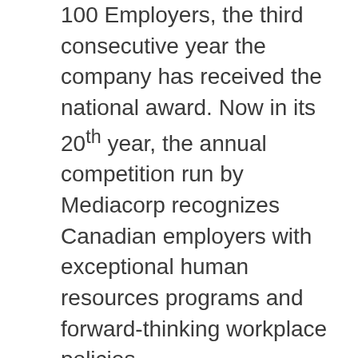100 Employers, the third consecutive year the company has received the national award. Now in its 20th year, the annual competition run by Mediacorp recognizes Canadian employers with exceptional human resources programs and forward-thinking workplace policies.

With over 3,000 employees working in laboratory and project sites across the country, CNL is committed to a positive work environment that offers its staff the opportunity to grow personally and